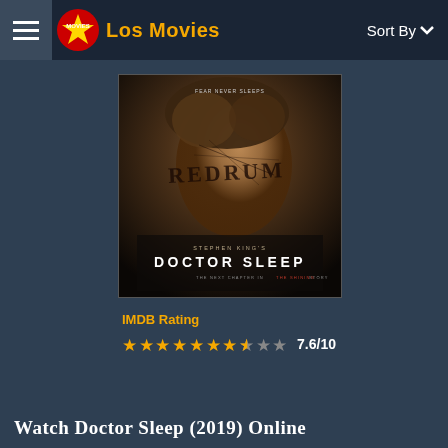Los Movies  Sort By
[Figure (photo): Doctor Sleep (2019) movie poster showing a man's face with 'REDRUM' written on it. Text reads: STEPHEN KING'S DOCTOR SLEEP – THE NEXT CHAPTER IN THE SHINING STORY]
IMDB Rating
7.6/10
Watch Doctor Sleep (2019) Online